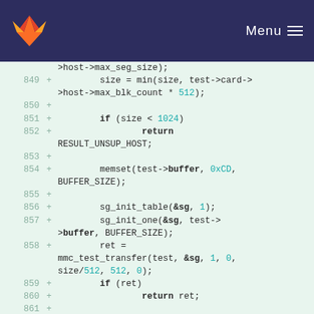GitLab logo | Menu
[Figure (screenshot): Code diff view showing lines 849-861 of a C source file with added lines (marked with +) showing MMC test transfer logic including size checks, memset, sg_init_table, sg_init_one, mmc_test_transfer calls, and return statements.]